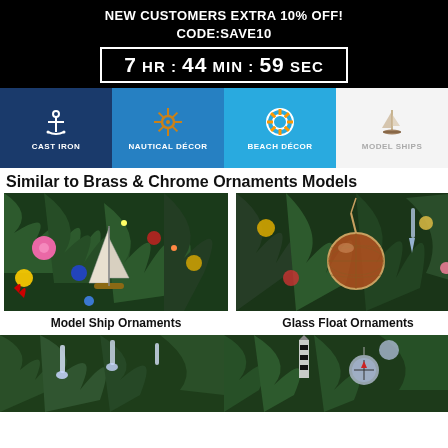NEW CUSTOMERS EXTRA 10% OFF!
CODE:SAVE10
7 HR : 44 MIN : 59 SEC
[Figure (infographic): Navigation category bar with icons: Cast Iron (anchor), Nautical Décor (ship wheel), Beach Décor (life ring), Model Ships (sailboat)]
Similar to Brass & Chrome Ornaments Models
[Figure (photo): Model ship ornament on a Christmas tree with colorful ornaments]
Model Ship Ornaments
[Figure (photo): Glass float ornament on a Christmas tree with colorful ornaments]
Glass Float Ornaments
[Figure (photo): Christmas tree branches with white ornaments - bottom left]
[Figure (photo): Christmas tree with lighthouse and nautical ornaments - bottom right]